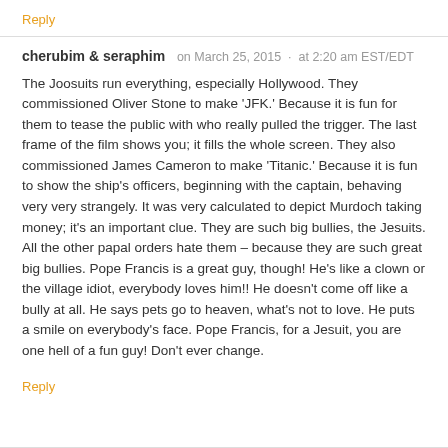Reply
cherubim & seraphim   on March 25, 2015  ·  at 2:20 am EST/EDT
The Joosuits run everything, especially Hollywood. They commissioned Oliver Stone to make 'JFK.' Because it is fun for them to tease the public with who really pulled the trigger. The last frame of the film shows you; it fills the whole screen. They also commissioned James Cameron to make 'Titanic.' Because it is fun to show the ship's officers, beginning with the captain, behaving very very strangely. It was very calculated to depict Murdoch taking money; it's an important clue. They are such big bullies, the Jesuits. All the other papal orders hate them – because they are such great big bullies. Pope Francis is a great guy, though! He's like a clown or the village idiot, everybody loves him!! He doesn't come off like a bully at all. He says pets go to heaven, what's not to love. He puts a smile on everybody's face. Pope Francis, for a Jesuit, you are one hell of a fun guy! Don't ever change.
Reply